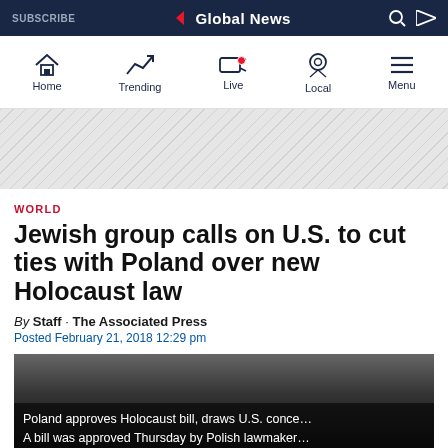SUBSCRIBE | Global News
[Figure (screenshot): Global News mobile navigation bar with Home, Trending, Live, Local, Menu icons]
[Figure (other): Advertisement banner area with diagonal stripe pattern]
WORLD
Jewish group calls on U.S. to cut ties with Poland over new Holocaust law
By Staff · The Associated Press
Posted February 21, 2018 12:29 pm
[Figure (screenshot): Video thumbnail showing dark image with text overlay: Poland approves Holocaust bill, draws U.S. conce... A bill was approved Thursday by Polish lawmaker...]